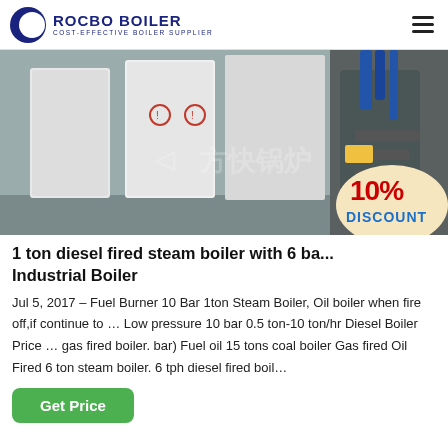ROCBO BOILER — COST-EFFECTIVE BOILER SUPPLIER
[Figure (photo): Industrial boilers in a facility — white vertical boiler panels on the left, a cylindrical/piped unit on the right with blue pipes. Chinese watermark text visible. A 10% DISCOUNT badge overlays the bottom-right corner.]
1 ton diesel fired steam boiler with 6 ba... Industrial Boiler
Jul 5, 2017 – Fuel Burner 10 Bar 1ton Steam Boiler, Oil boiler when fire off,if continue to … Low pressure 10 bar 0.5 ton-10 ton/hr Diesel Boiler Price … gas fired boiler. bar) Fuel oil 15 tons coal boiler Gas fired Oil Fired 6 ton steam boiler. 6 tph diesel fired boil…
Get Price